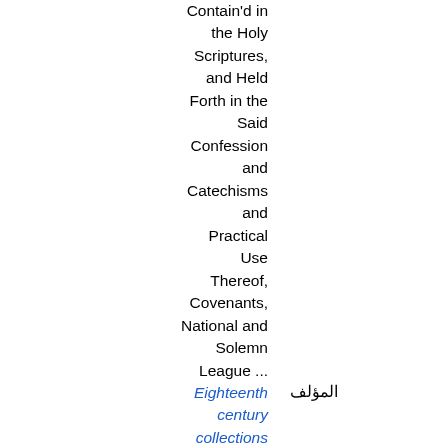Contain'd in the Holy Scriptures, and Held Forth in the Said Confession and Catechisms and Practical Use Thereof, Covenants, National and Solemn League ...
Eighteenth century collections online
Church of Scotland
المؤلف
W. Duncan